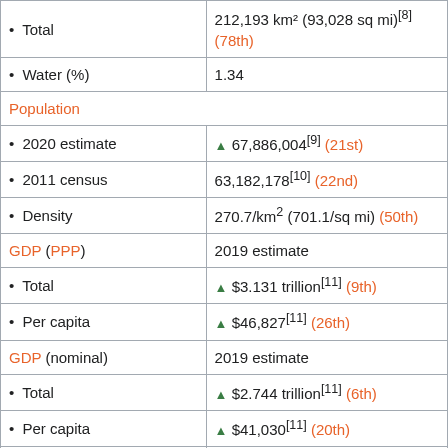| Category | Value |
| --- | --- |
| • Total | 212,193 km² (93,028 sq mi)[8] (78th) |
| • Water (%) | 1.34 |
| Population |  |
| • 2020 estimate | ▲ 67,886,004[9] (21st) |
| • 2011 census | 63,182,178[10] (22nd) |
| • Density | 270.7/km² (701.1/sq mi) (50th) |
| GDP (PPP) | 2019 estimate |
| • Total | ▲ $3.131 trillion[11] (9th) |
| • Per capita | ▲ $46,827[11] (26th) |
| GDP (nominal) | 2019 estimate |
| • Total | ▲ $2.744 trillion[11] (6th) |
| • Per capita | ▲ $41,030[11] (20th) |
| Gini (2018) | ▲ 33.5[12]
medium • 33rd |